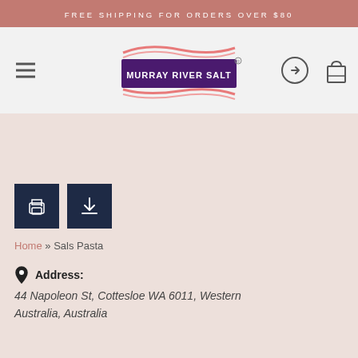FREE SHIPPING FOR ORDERS OVER $80
[Figure (logo): Murray River Salt logo — purple rectangular badge with white text and pink wave decoration above and below]
[Figure (illustration): Print icon (white printer on dark navy background)]
[Figure (illustration): Download icon (white download arrow on dark navy background)]
Home » Sals Pasta
Address:
44 Napoleon St, Cottesloe WA 6011, Western Australia, Australia